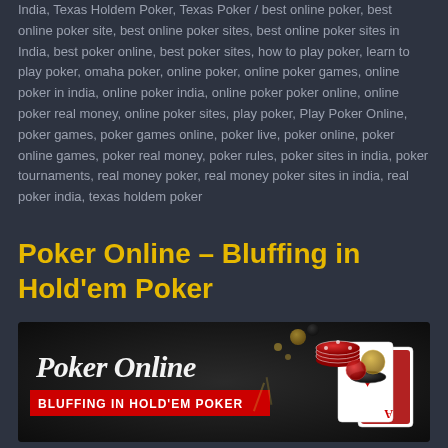India, Texas Holdem Poker, Texas Poker / best online poker, best online poker site, best online poker sites, best online poker sites in India, best poker online, best poker sites, how to play poker, learn to play poker, omaha poker, online poker, online poker games, online poker in india, online poker india, online poker poker online, online poker real money, online poker sites, play poker, Play Poker Online, poker games, poker games online, poker live, poker online, poker online games, poker real money, poker rules, poker sites in india, poker tournaments, real money poker, real money poker sites in india, real poker india, texas holdem poker
Poker Online – Bluffing in Hold'em Poker
[Figure (photo): Promotional banner image for 'Poker Online – Bluffing in Hold'em Poker' showing poker chips, playing cards, and a dark background with cursive text 'Poker Online' and a red banner reading 'BLUFFING IN HOLD'EM POKER']